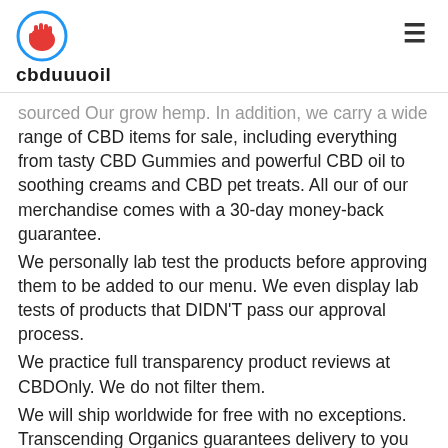cbduuuoil
sourced Our grow hemp. In addition, we carry a wide range of CBD items for sale, including everything from tasty CBD Gummies and powerful CBD oil to soothing creams and CBD pet treats. All our of our merchandise comes with a 30-day money-back guarantee.
We personally lab test the products before approving them to be added to our menu. We even display lab tests of products that DIDN'T pass our approval process.
We practice full transparency product reviews at CBDOnly. We do not filter them.
We will ship worldwide for free with no exceptions. Transcending Organics guarantees delivery to you when you buy CBD oil in Australia. When you place an cbd oil for dogs with us, you can be sure that your order will be handled with efficiency. For customers in Australia CBD oil